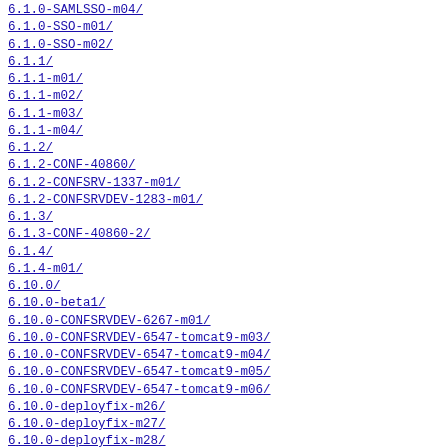6.1.0-SAMLSSO-m04/
6.1.0-SSO-m01/
6.1.0-SSO-m02/
6.1.1/
6.1.1-m01/
6.1.1-m02/
6.1.1-m03/
6.1.1-m04/
6.1.2/
6.1.2-CONF-40860/
6.1.2-CONFSRV-1337-m01/
6.1.2-CONFSRVDEV-1283-m01/
6.1.3/
6.1.3-CONF-40860-2/
6.1.4/
6.1.4-m01/
6.10.0/
6.10.0-beta1/
6.10.0-CONFSRVDEV-6267-m01/
6.10.0-CONFSRVDEV-6547-tomcat9-m03/
6.10.0-CONFSRVDEV-6547-tomcat9-m04/
6.10.0-CONFSRVDEV-6547-tomcat9-m05/
6.10.0-CONFSRVDEV-6547-tomcat9-m06/
6.10.0-deployfix-m26/
6.10.0-deployfix-m27/
6.10.0-deployfix-m28/
6.10.0-deployfix-m29/
6.10.0-m02/
6.10.0-m03/
6.10.0-m04/